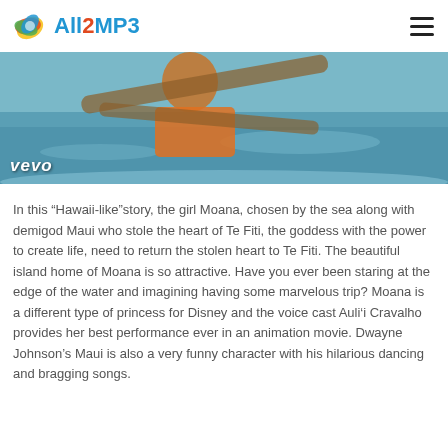All2MP3
[Figure (photo): Hero image from Moana movie with Vevo watermark, showing a character rowing a boat on turquoise water]
In this “Hawaii-like”story, the girl Moana, chosen by the sea along with demigod Maui who stole the heart of Te Fiti, the goddess with the power to create life, need to return the stolen heart to Te Fiti. The beautiful island home of Moana is so attractive. Have you ever been staring at the edge of the water and imagining having some marvelous trip? Moana is a different type of princess for Disney and the voice cast Auli‘i Cravalho provides her best performance ever in an animation movie. Dwayne Johnson’s Maui is also a very funny character with his hilarious dancing and bragging songs.